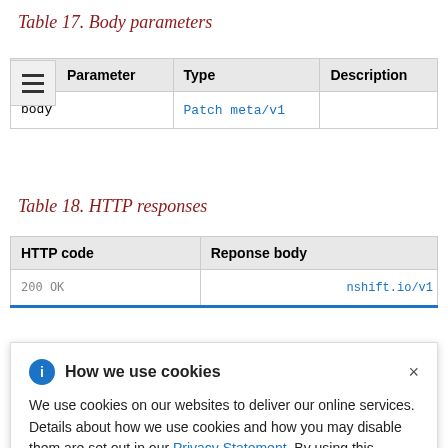Table 17. Body parameters
| Parameter | Type | Description |
| --- | --- | --- |
| body | Patch meta/v1 |  |
Table 18. HTTP responses
| HTTP code | Reponse body |
| --- | --- |
| 200 OK | nshift.io/v1 |
How we use cookies

We use cookies on our websites to deliver our online services. Details about how we use cookies and how you may disable them are set out in our Privacy Statement. By using this website you agree to our use of cookies.